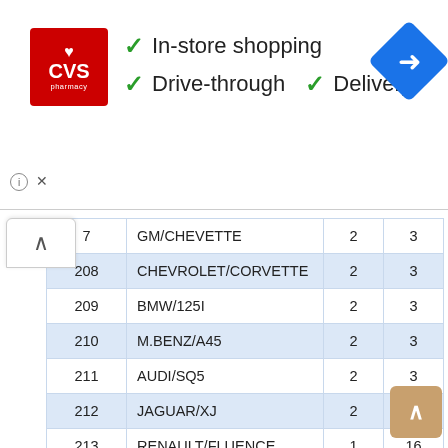[Figure (screenshot): CVS Pharmacy advertisement banner showing In-store shopping, Drive-through, and Delivery checkmarks, with a navigation/directions icon on the right.]
| # | Make/Model | Col3 | Col4 |
| --- | --- | --- | --- |
| 7 | GM/CHEVETTE | 2 | 3 |
| 208 | CHEVROLET/CORVETTE | 2 | 3 |
| 209 | BMW/125I | 2 | 3 |
| 210 | M.BENZ/A45 | 2 | 3 |
| 211 | AUDI/SQ5 | 2 | 3 |
| 212 | JAGUAR/XJ | 2 | 2 |
| 213 | RENAULT/FLUENCE | 1 | 16 |
| 214 | BMW/430I | 1 | 8 |
| 215 | JEEP/WRANGLER | 1 | 6 |
| 216 | PEUGEOT/308 | 1 | 6 |
| 217 | EFFA/K02 | 1 | 6 |
| 218 | BMW/BMW... | 1 | 5 |